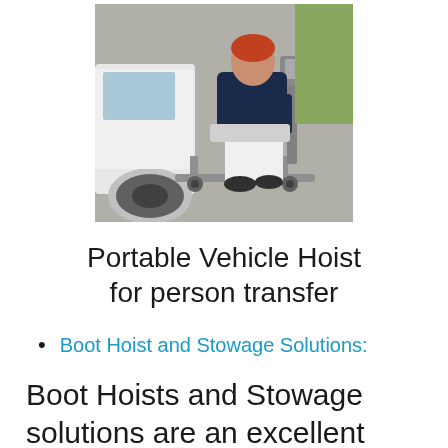[Figure (photo): Person sitting on a mechanical portable vehicle hoist/transfer device beside a white car, outdoors on pavement. The hoist has a metal frame with wheels and a motor unit.]
Portable Vehicle Hoist for person transfer
Boot Hoist and Stowage Solutions:
Boot Hoists and Stowage solutions are an excellent way